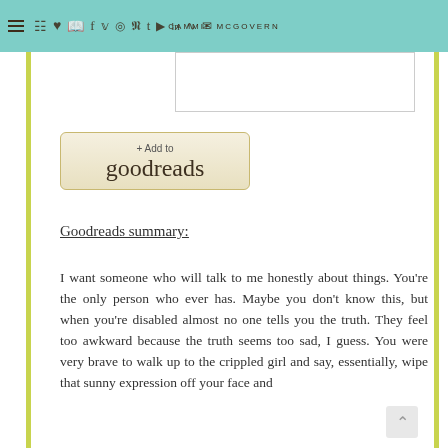CAMMIE MCGOVERN
[Figure (other): Goodreads Add to goodreads button]
Goodreads summary:
I want someone who will talk to me honestly about things. You're the only person who ever has. Maybe you don't know this, but when you're disabled almost no one tells you the truth. They feel too awkward because the truth seems too sad, I guess. You were very brave to walk up to the crippled girl and say, essentially, wipe that sunny expression off your face and look honestly. The thought about what happened